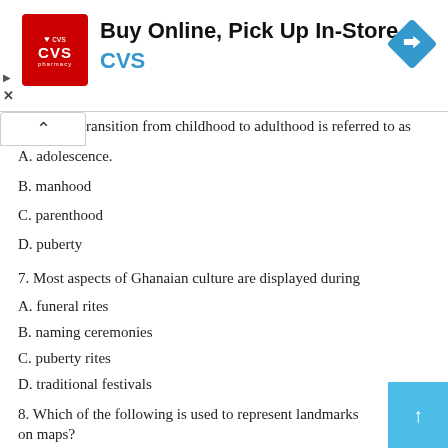[Figure (infographic): CVS Pharmacy advertisement banner: 'Buy Online, Pick Up In-Store' with CVS logo and navigation icon]
ransition from childhood to adulthood is referred to as
A. adolescence.
B. manhood
C. parenthood
D. puberty
7. Most aspects of Ghanaian culture are displayed during
A. funeral rites
B. naming ceremonies
C. puberty rites
D. traditional festivals
8. Which of the following is used to represent landmarks on maps?
A. Conventional signs
B. Histogram
C. Mathematica symbols (partially visible)